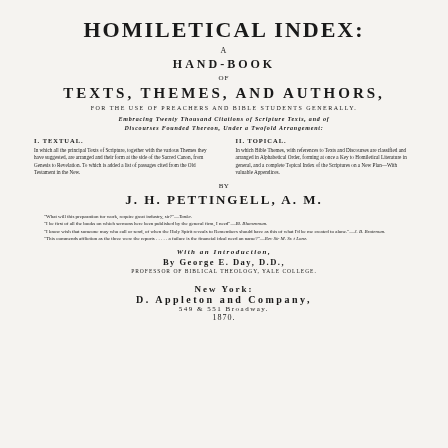HOMILETICAL INDEX:
A HAND-BOOK OF TEXTS, THEMES, AND AUTHORS,
FOR THE USE OF PREACHERS AND BIBLE STUDENTS GENERALLY.
EMBRACING TWENTY THOUSAND CITATIONS OF SCRIPTURE TEXTS, AND OF DISCOURSES FOUNDED THEREON, UNDER A TWOFOLD ARRANGEMENT:
I. TEXTUAL. In which all the principal Texts of Scripture, together with the various Themes they have suggested, are arranged and their form at the side of the Sacred Canon, from Genesis to Revelation. To which is added a list of passages cited from the Old Testament in the New.

II. TOPICAL. In which Bible Themes, with references to Texts and Discourses are classified and arranged in Alphabetical Order, forming at once a Key to Homiletical Literature in general, and a complete Topical Index of the Scriptures on a New Plan—With valuable Appendices.
BY J. H. PETTINGELL, A. M.
"What will this preparation for work, require great industry, sir?"—Tonke.
"I be first of all the books on which sermons here been published by the general firm, I need"—Bl. Blumenman.
"I know wish that someone may who call or send, of when the Holy Spirit reveals to Remembers should have as this of what I'd be me created to alone."—J. B. Broteman.
"This commends affliction as the three were the reports . . . . . a failure is the financial ideal need an name?"—Rev Sir M. Sr. t Lone.
WITH AN INTRODUCTION, By GEORGE E. DAY, D.D., PROFESSOR OF BIBLICAL THEOLOGY, YALE COLLEGE.
NEW YORK: D. APPLETON AND COMPANY, 549 & 551 BROADWAY. 1870.